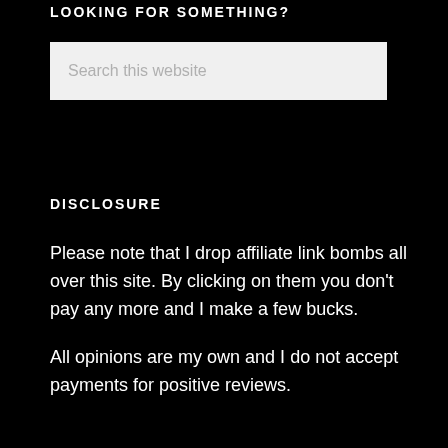LOOKING FOR SOMETHING?
[Figure (other): Search box with placeholder text 'Search this website']
DISCLOSURE
Please note that I drop affiliate link bombs all over this site. By clicking on them you don't pay any more and I make a few bucks.
All opinions are my own and I do not accept payments for positive reviews.